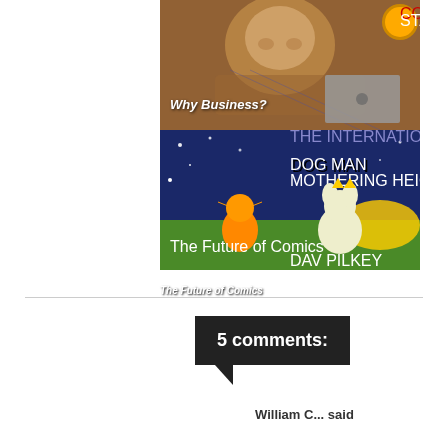[Figure (illustration): Composite image: top half shows an elderly man smiling holding something, with a badge/logo in top right corner and 'Why Business?' text overlay with a gray card. Bottom half shows the book cover of 'Dog Man: Mothering Heights' by Dav Pilkey with 'The Future of Comics' text overlay on a dark blue/green background with cartoon characters.]
Why Business?
The Future of Comics
5 comments:
William C... said